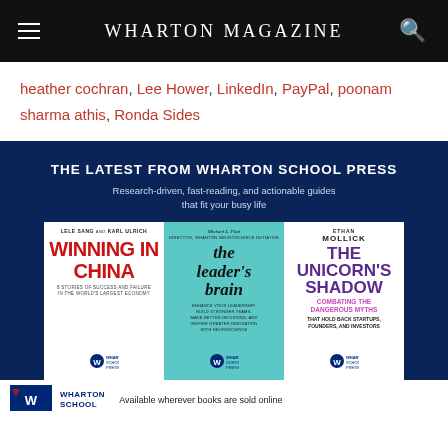WHARTON MAGAZINE
heather cochran, Lee Hower, LinkedIn, PayPal, poonam sharma athis, Ronda Sides
[Figure (illustration): Advertisement banner for Wharton School Press featuring three book covers: 'Winning in China' by Lele Sang and Karl Ulrich, 'The Leader's Brain' by Michael L. Platt, and 'The Unicorn's Shadow' by Ethan Mollick. Headline reads: THE LATEST FROM WHARTON SCHOOL PRESS. Subheadline: Research-driven, fast-reading, and actionable guides that fit your busy life. Bottom bar shows Wharton School logo and text: Available wherever books are sold online.]